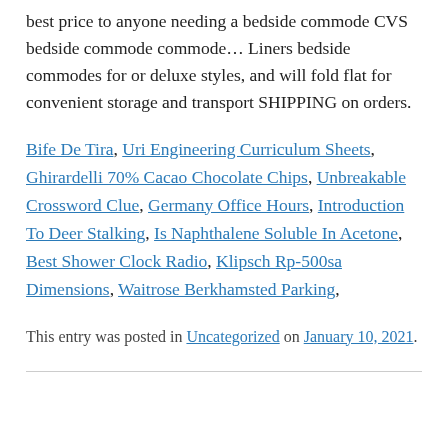best price to anyone needing a bedside commode CVS bedside commode commode… Liners bedside commodes for or deluxe styles, and will fold flat for convenient storage and transport SHIPPING on orders.
Bife De Tira, Uri Engineering Curriculum Sheets, Ghirardelli 70% Cacao Chocolate Chips, Unbreakable Crossword Clue, Germany Office Hours, Introduction To Deer Stalking, Is Naphthalene Soluble In Acetone, Best Shower Clock Radio, Klipsch Rp-500sa Dimensions, Waitrose Berkhamsted Parking,
This entry was posted in Uncategorized on January 10, 2021.